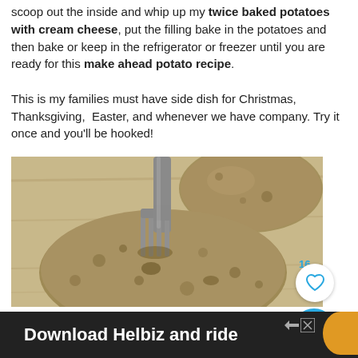scoop out the inside and whip up my twice baked potatoes with cream cheese, put the filling bake in the potatoes and then bake or keep in the refrigerator or freezer until you are ready for this make ahead potato recipe. This is my families must have side dish for Christmas, Thanksgiving, Easter, and whenever we have company. Try it once and you'll be hooked!
[Figure (photo): A fork being pressed into a russet potato on a wooden cutting board, with another potato visible in the background.]
Download Helbiz and ride